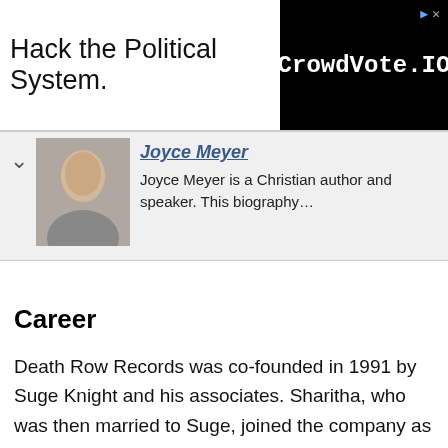[Figure (other): Advertisement banner: 'Hack the Political System.' on the left and 'CrowdVote.IO' logo on a black background on the right]
Joyce Meyer
Joyce Meyer is a Christian author and speaker. This biography…
Career
Death Row Records was co-founded in 1991 by Suge Knight and his associates. Sharitha, who was then married to Suge, joined the company as a producer, and as the company grew, she obtained a percentage of it. Death Row Records became famous when it started signing popular artistes like Snoop Dogg, Tupac Shakur, MC